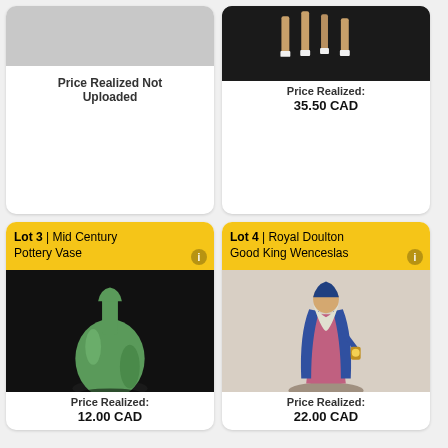Price Realized Not Uploaded
Price Realized: 35.50 CAD
Lot 3 | Mid Century Pottery Vase
[Figure (photo): Green mid-century pottery vase on dark background]
Price Realized: 12.00 CAD
Lot 4 | Royal Doulton Good King Wenceslas
[Figure (photo): Royal Doulton figurine of Good King Wenceslas]
Price Realized: 22.00 CAD